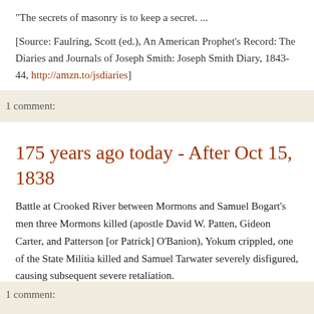"The secrets of masonry is to keep a secret. ...
[Source: Faulring, Scott (ed.), An American Prophet's Record: The Diaries and Journals of Joseph Smith: Joseph Smith Diary, 1843-44, http://amzn.to/jsdiaries]
1 comment:
175 years ago today - After Oct 15, 1838
Battle at Crooked River between Mormons and Samuel Bogart's men three Mormons killed (apostle David W. Patten, Gideon Carter, and Patterson [or Patrick] O'Banion), Yokum crippled, one of the State Militia killed and Samuel Tarwater severely disfigured, causing subsequent severe retaliation.
[Source: Tidd, N. R., "Mormon Chronology"]
1 comment: